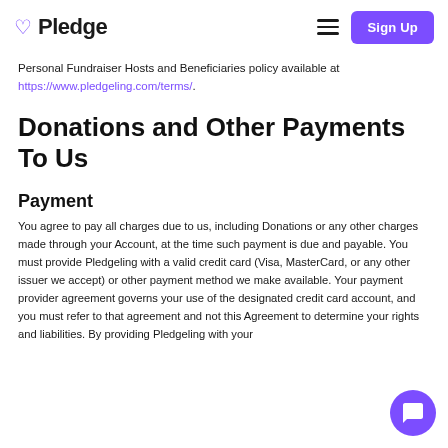Pledge Sign Up
Personal Fundraiser Hosts and Beneficiaries policy available at https://www.pledgeling.com/terms/.
Donations and Other Payments To Us
Payment
You agree to pay all charges due to us, including Donations or any other charges made through your Account, at the time such payment is due and payable. You must provide Pledgeling with a valid credit card (Visa, MasterCard, or any other issuer we accept) or other payment method we make available. Your payment provider agreement governs your use of the designated credit card account, and you must refer to that agreement and not this Agreement to determine your rights and liabilities. By providing Pledgeling with your